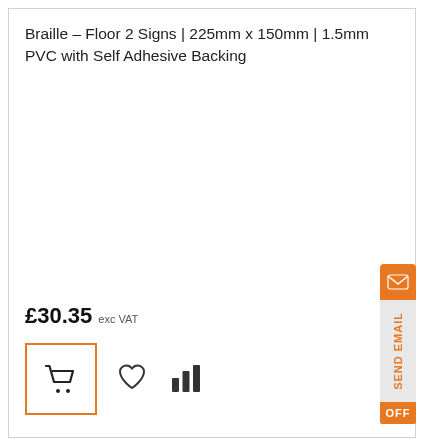Braille - Floor 2 Signs | 225mm x 150mm | 1.5mm PVC with Self Adhesive Backing
£30.35 exc VAT
[Figure (infographic): Shopping cart button with orange border, heart/wishlist icon, and bar chart/compare icon; plus a vertical SEND EMAIL tab on the right side with orange envelope icon and OFF label]